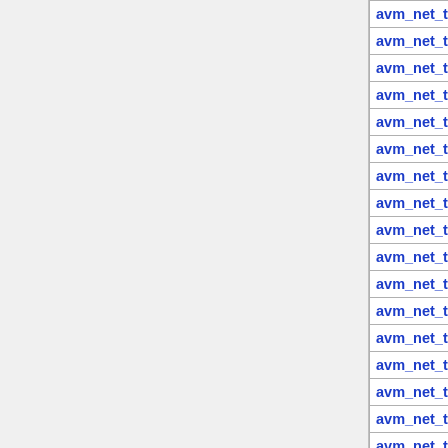| Name | Count | Range | Type |
| --- | --- | --- | --- |
| avm_net_trace24 | 31 | 4.50 - 5.25 | TC |
| avm_net_trace240 | 12 | 4.50 - 5.25 | TC |
| avm_net_trace241 | 12 | 4.50 - 5.25 | TC |
| avm_net_trace242 | 12 | 4.50 - 5.25 | TC |
| avm_net_trace243 | 12 | 4.50 - 5.25 | TC |
| avm_net_trace244 | 12 | 4.50 - 5.25 | TC |
| avm_net_trace245 | 9 | 4.85 - 4.92 | TC |
| avm_net_trace246 | 9 | 4.85 - 4.92 | TC |
| avm_net_trace247 | 9 | 4.85 - 4.92 | TC |
| avm_net_trace248 | 9 | 4.85 - 4.92 | TC |
| avm_net_trace249 | 9 | 4.85 - 4.92 | TC |
| avm_net_trace25 | 31 | 4.50 - 5.25 | TC |
| avm_net_trace250 | 9 | 4.85 - 4.92 | TC |
| avm_net_trace251 | 9 | 4.85 - 4.92 | TC |
| avm_net_trace252 | 9 | 4.85 - 4.92 | TC |
| avm_net_trace253 | 9 | 4.85 - 4.92 | TC |
| avm_net_trace254 | 9 | 4.85 - 4.92 | TC |
| avm_net_trace26 | 31 | 4.50 - 5.25 | TC |